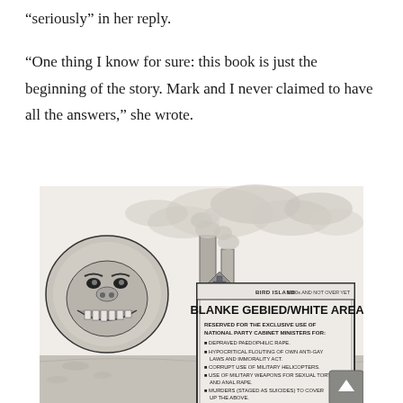“seriously” in her reply.

“One thing I know for sure: this book is just the beginning of the story. Mark and I never claimed to have all the answers,” she wrote.
[Figure (illustration): A political cartoon by Zapiro depicting a grotesque ape-like face with bared teeth on the left, industrial smokestacks with billowing clouds in the background, and a large sign reading 'BIRD ISLAND 1980s AND NOT OVER YET / BLANKE GEBIED/WHITE AREA / RESERVED FOR THE EXCLUSIVE USE OF NATIONAL PARTY CABINET MINISTERS FOR: depraved paedophilic rape, hypocritical flouting of own anti-gay laws and immorality act, corrupt use of military helicopters, use of military weapons for sexual torture and anal rape, murders (staged as suicides) to cover up the above. By Order Dept of Apartheid Nostalgia'. Below the sign is a dedication reading 'For the courageous Mark, Minnie, Pieter-Louis, Chris Steyn and the Lost Boys' signed ZAPIRO.]